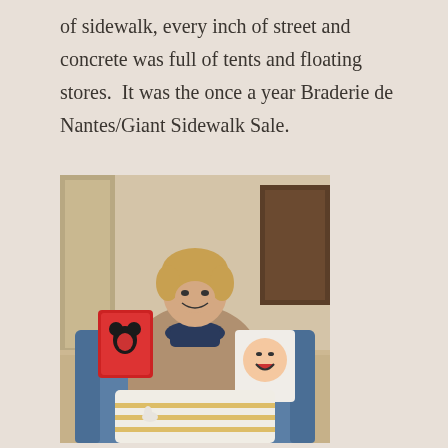of sidewalk, every inch of street and concrete was full of tents and floating stores.  It was the once a year Braderie de Nantes/Giant Sidewalk Sale.
[Figure (photo): A smiling woman with short blonde hair sitting in a blue armchair, wearing a tan puffer jacket and navy floral scarf, holding up a red Minnie Mouse card/book in one hand and a book with a laughing baby face on the cover in the other hand. A white and gold striped kitchen towel with goose embroidery is draped over her lap.]